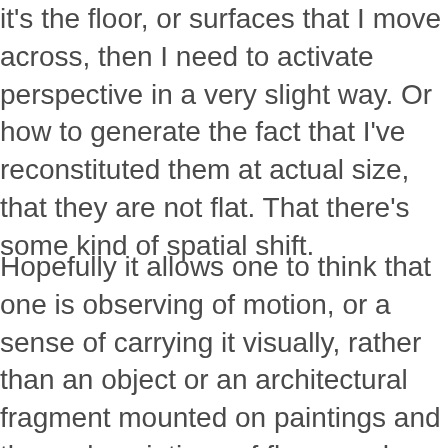it's the floor, or surfaces that I move across, then I need to activate perspective in a very slight way. Or how to generate the fact that I've reconstituted them at actual size, that they are not flat. That there's some kind of spatial shift.
Hopefully it allows one to think that one is observing of motion, or a sense of carrying it visually, rather than an object or an architectural fragment mounted on paintings and the early paintings of floors and through sense of the lower register being the element that the upper part of the painting, suggesting, ever so motion.